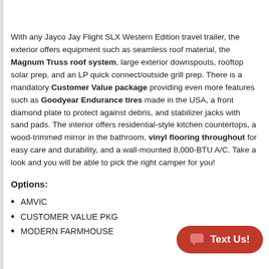With any Jayco Jay Flight SLX Western Edition travel trailer, the exterior offers equipment such as seamless roof material, the Magnum Truss roof system, large exterior downspouts, rooftop solar prep, and an LP quick connect/outside grill prep. There is a mandatory Customer Value package providing even more features such as Goodyear Endurance tires made in the USA, a front diamond plate to protect against debris, and stabilizer jacks with sand pads. The interior offers residential-style kitchen countertops, a wood-trimmed mirror in the bathroom, vinyl flooring throughout for easy care and durability, and a wall-mounted 8,000-BTU A/C. Take a look and you will be able to pick the right camper for you!
Options:
AMVIC
CUSTOMER VALUE PKG
MODERN FARMHOUSE